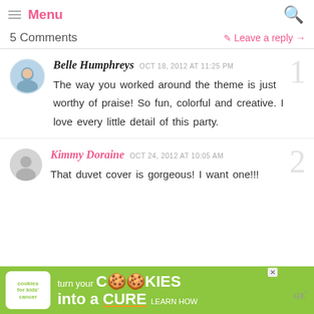Menu (navigation bar with search icon)
5 Comments   ✏ Leave a reply →
Belle Humphreys  OCT 18, 2012 AT 11:25 PM
The way you worked around the theme is just worthy of praise! So fun, colorful and creative. I love every little detail of this party.
Kimmy Doraine  OCT 24, 2012 AT 10:05 AM
That duvet cover is gorgeous! I want one!!!
[Figure (infographic): Green advertisement banner: 'cookies for kids cancer — turn your COOKIES into a CURE LEARN HOW']